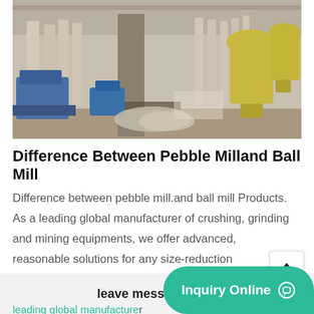[Figure (photo): Industrial facility interior showing milling/grinding equipment including yellow cyclone separators, columns, and blue machinery on a concrete floor]
Difference Between Pebble Milland Ball Mill
Difference between pebble mill.and ball mill Products. As a leading global manufacturer of crushing, grinding and mining equipments, we offer advanced, reasonable solutions for any size-reduction requirements including, Difference between pebble mill.and ball mill, quarry, aggregate, and different kind of minerals.
leading global manufacturer